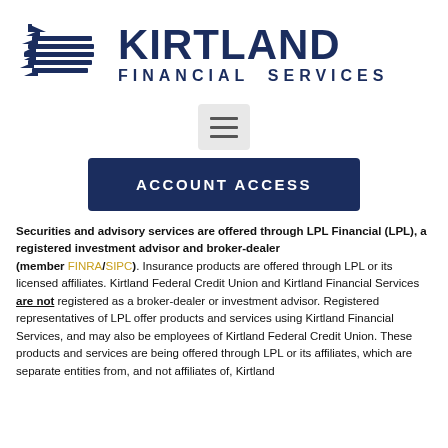[Figure (logo): Kirtland Financial Services logo with stylized American flag graphic on left and 'KIRTLAND FINANCIAL SERVICES' text in dark navy blue on right]
[Figure (other): Hamburger menu button icon with three horizontal lines on grey background]
ACCOUNT ACCESS
Securities and advisory services are offered through LPL Financial (LPL), a registered investment advisor and broker-dealer (member FINRA/SIPC). Insurance products are offered through LPL or its licensed affiliates. Kirtland Federal Credit Union and Kirtland Financial Services are not registered as a broker-dealer or investment advisor. Registered representatives of LPL offer products and services using Kirtland Financial Services, and may also be employees of Kirtland Federal Credit Union. These products and services are being offered through LPL or its affiliates, which are separate entities from, and not affiliates of, Kirtland